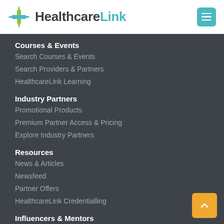HealthcareLink
Courses & Events
Search Courses & Events
Search Providers & Partners
HealthcareLink Learning
Industry Partners
Promotional Products
Premium Partner Access & Pricing
Explore Industry Partners
Resources
News & Articles
Newsfeed
Partner Offers
HealthcareLink Credentialling
Influencers & Mentors